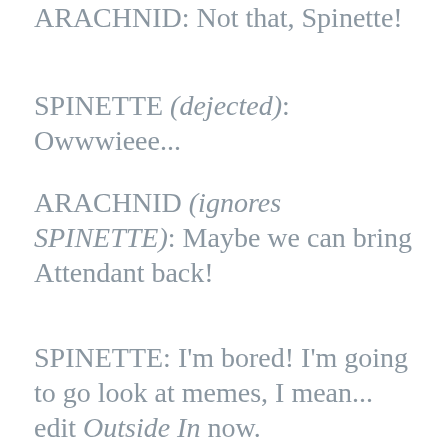ARACHNID: Not that, Spinette!
SPINETTE (dejected): Owwwieee...
ARACHNID (ignores SPINETTE): Maybe we can bring Attendant back!
SPINETTE: I'm bored! I'm going to go look at memes, I mean... edit Outside In now.
Privacy & Cookies: This site uses cookies. By continuing to use this website, you agree to their use.
To find out more, including how to control cookies, see here:
Cookie Policy
Close and accept
ARACHNID and SPINETTE sit there for